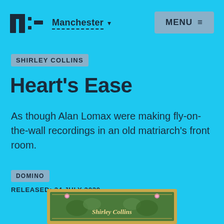nt Manchester MENU
SHIRLEY COLLINS
Heart's Ease
As though Alan Lomax were making fly-on-the-wall recordings in an old matriarch's front room.
DOMINO
RELEASED: 24 JULY 2020
[Figure (photo): Partial album cover for Shirley Collins Heart's Ease showing green floral design with text 'Shirley Collins']